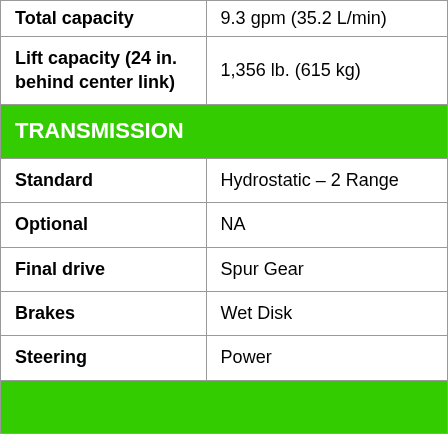| Specification | Value |
| --- | --- |
| Total capacity | 9.3 gpm (35.2 L/min) |
| Lift capacity (24 in. behind center link) | 1,356 lb. (615 kg) |
| TRANSMISSION |  |
| Standard | Hydrostatic – 2 Range |
| Optional | NA |
| Final drive | Spur Gear |
| Brakes | Wet Disk |
| Steering | Power |